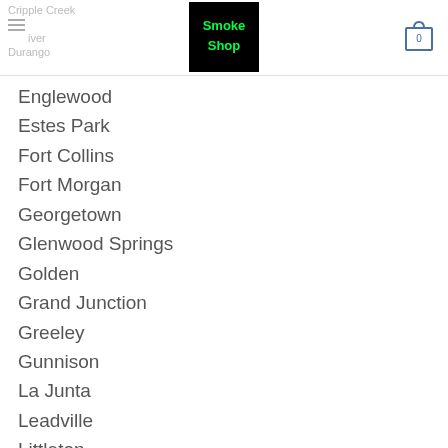Cripple Creek | Denver | Durango — Smoke Shop logo — Cart (0)
Englewood
Estes Park
Fort Collins
Fort Morgan
Georgetown
Glenwood Springs
Golden
Grand Junction
Greeley
Gunnison
La Junta
Leadville
Littleton
Longmont
Loveland